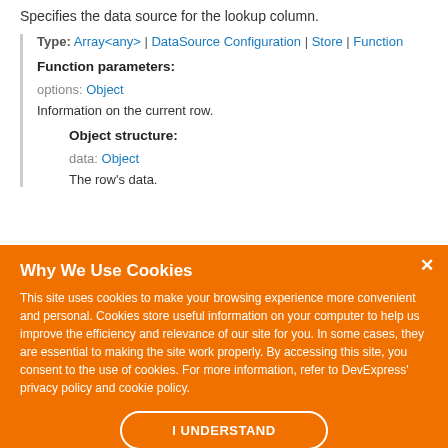Specifies the data source for the lookup column.
Type: Array<any> | DataSource Configuration | Store | Function
Function parameters:
options: Object
Information on the current row.
Object structure:
data: Object
The row's data.
Why We Use Cookies
This site uses cookies to make your browsing experience more convenient and personal. Cookies store useful information on your computer to help us improve the efficiency and relevance of our site for you. In some cases, they are essential to making the site work properly. By accessing this site, you consent to the use of cookies. For more information, refer to DevExpress' privacy policy and cookie policy.
I UNDERSTAND